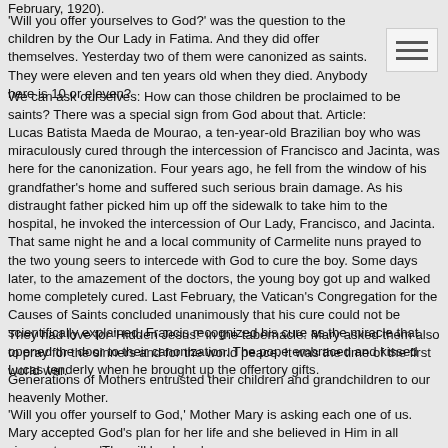February, 1920).
'Will you offer yourselves to God?' was the question to the children by the Our Lady in Fatima. And they did offer themselves. Yesterday two of them were canonized as saints. They were eleven and ten years old when they died. Anybody here is 10 or eleven?
We can ask ourselves: How can those children be proclaimed to be saints? There was a special sign from God about that. Article:
Lucas Batista Maeda de Mourao, a ten-year-old Brazilian boy who was miraculously cured through the intercession of Francisco and Jacinta, was here for the canonization. Four years ago, he fell from the window of his grandfather's home and suffered such serious brain damage. As his distraught father picked him up off the sidewalk to take him to the hospital, he invoked the intercession of Our Lady, Francisco, and Jacinta. That same night he and a local community of Carmelite nuns prayed to the two young seers to intercede with God to cure the boy. Some days later, to the amazement of the doctors, the young boy got up and walked home completely cured. Last February, the Vatican's Congregation for the Causes of Saints concluded unanimously that his cure could not be scientifically explained. Francis recognized his cure as the miracle that opened the door to their canonization. The pope embraced and kissed Lucas tenderly when he brought up the offertory gifts.
They had love for 'Hidden Jesus!' in the tabernacle. Mary asked them also to pray for the sinners and for the world peace. It was the time of the first world war.
Generations of Mothers entrusted their children and grandchildren to our heavenly Mother.
'Will you offer yourself to God,' Mother Mary is asking each one of us. Mary accepted God's plan for her life and she believed in Him in all circumstances. 'Thy will be done.'